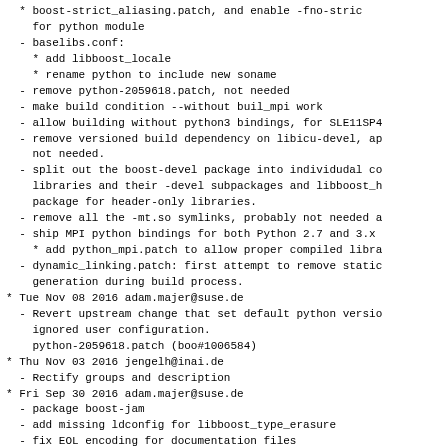* boost-strict_aliasing.patch, and enable -fno-strict-aliasing for python module
- baselibs.conf:
  * add libboost_locale
  * rename python to include new soname
- remove python-2059618.patch, not needed
- make build condition --without buil_mpi work
- allow building without python3 bindings, for SLE11SP4
- remove versioned build dependency on libicu-devel, ap not needed.
- split out the boost-devel package into individudal co libraries and their -devel subpackages and libboost_h package for header-only libraries.
- remove all the -mt.so symlinks, probably not needed a
- ship MPI python bindings for both Python 2.7 and 3.x
  * add python_mpi.patch to allow proper compiled libra
- dynamic_linking.patch: first attempt to remove static generation during build process.
* Tue Nov 08 2016 adam.majer@suse.de
- Revert upstream change that set default python versio ignored user configuration.
  python-2059618.patch (boo#1006584)
* Thu Nov 03 2016 jengelh@inai.de
- Rectify groups and description
* Fri Sep 30 2016 adam.majer@suse.de
- package boost-jam
- add missing ldconfig for libboost_type_erasure
- fix EOL encoding for documentation files
* Thu Sep 29 2016 adam.majer@suse.de
- update to version 1.62.0